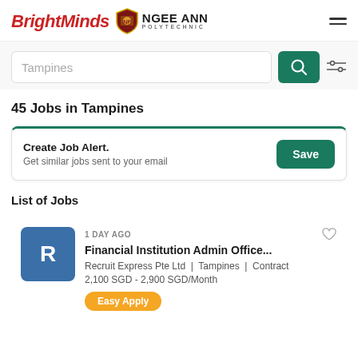BrightMinds | NGEE ANN POLYTECHNIC
Tampines
45 Jobs in Tampines
Create Job Alert. Get similar jobs sent to your email
List of Jobs
1 DAY AGO
Financial Institution Admin Office...
Recruit Express Pte Ltd | Tampines | Contract
2,100 SGD - 2,900 SGD/Month
Easy Apply